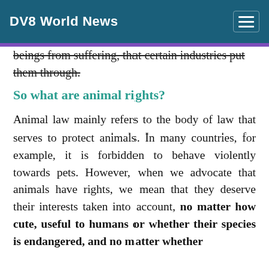DV8 World News
beings from suffering, that certain industries put them through.
So what are animal rights?
Animal law mainly refers to the body of law that serves to protect animals. In many countries, for example, it is forbidden to behave violently towards pets. However, when we advocate that animals have rights, we mean that they deserve their interests taken into account, no matter how cute, useful to humans or whether their species is endangered, and no matter whether